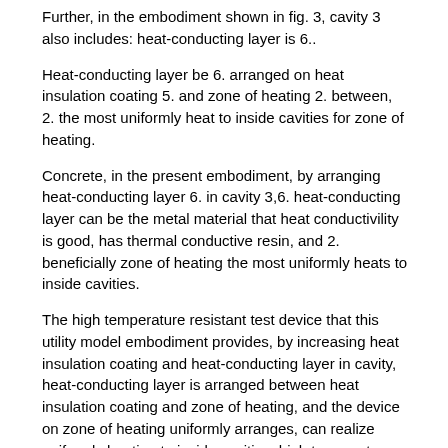Further, in the embodiment shown in fig. 3, cavity 3 also includes: heat-conducting layer is 6..
Heat-conducting layer be 6. arranged on heat insulation coating 5. and zone of heating 2. between, 2. the most uniformly heat to inside cavities for zone of heating.
Concrete, in the present embodiment, by arranging heat-conducting layer 6. in cavity 3,6. heat-conducting layer can be the metal material that heat conductivility is good, has thermal conductive resin, and 2. beneficially zone of heating the most uniformly heats to inside cavities.
The high temperature resistant test device that this utility model embodiment provides, by increasing heat insulation coating and heat-conducting layer in cavity, heat-conducting layer is arranged between heat insulation coating and zone of heating, and the device on zone of heating uniformly arranges, can realize uniformly heating to inside cavities, high temperature resistant test device is made uniformly to heat without current high temperature resistant test device uses circulating fan, decrease device and use number, and the circulating fan avoiding employing at present is easily damaged the defect high